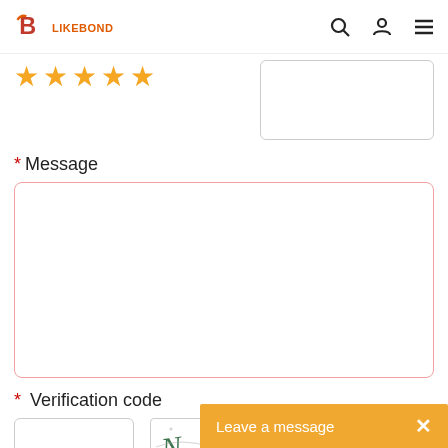[Figure (logo): LIKEBOND logo with stylized B icon in red/orange and brand name text below]
[Figure (illustration): Five golden star rating icons]
* Message
[Figure (screenshot): Empty message textarea input box with rounded border]
* Verification code
[Figure (screenshot): Verification code text input box]
[Figure (illustration): CAPTCHA image showing letters: N Y H U with decorative dots]
Add your images
Please only provide JPG/GIF/PNG files. Individual photo size cannot exceed 2MB.
Leave a message